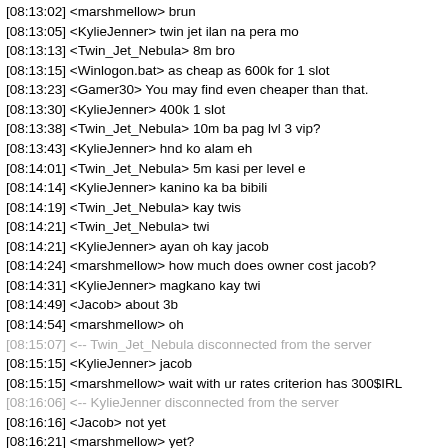[08:13:02] <marshmellow> brun
[08:13:05] <KylieJenner> twin jet ilan na pera mo
[08:13:13] <Twin_Jet_Nebula> 8m bro
[08:13:15] <Winlogon.bat> as cheap as 600k for 1 slot
[08:13:23] <Gamer30> You may find even cheaper than that.
[08:13:30] <KylieJenner> 400k 1 slot
[08:13:38] <Twin_Jet_Nebula> 10m ba pag lvl 3 vip?
[08:13:43] <KylieJenner> hnd ko alam eh
[08:14:01] <Twin_Jet_Nebula> 5m kasi per level e
[08:14:14] <KylieJenner> kanino ka ba bibili
[08:14:19] <Twin_Jet_Nebula> kay twis
[08:14:21] <Twin_Jet_Nebula> twi
[08:14:21] <KylieJenner> ayan oh kay jacob
[08:14:24] <marshmellow> how much does owner cost jacob?
[08:14:31] <KylieJenner> magkano kay twi
[08:14:49] <Jacob> about 3b
[08:14:54] <marshmellow> oh
[08:15:07] <-- Twin_Jet_Nebula disconnected from the server
[08:15:15] <KylieJenner> jacob
[08:15:15] <marshmellow> wait with ur rates criterion has 300$IRL
[08:16:06] <-- KylieJenner disconnected from the server
[08:16:16] <Jacob> not yet
[08:16:21] <marshmellow> yet?
[08:16:23] (WEB) <j03#6216> YOOOOOOO
[08:16:23] --> KylieJenner connected to the server